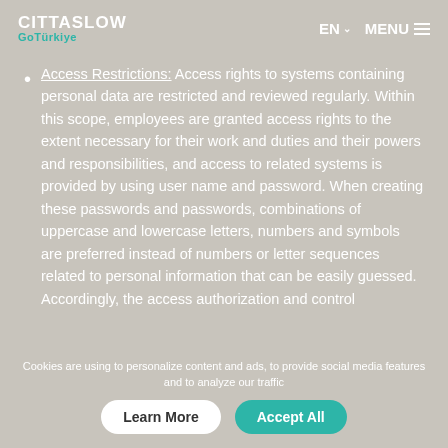CITTASLOW GoTürkiye | EN MENU
Access Restrictions: Access rights to systems containing personal data are restricted and reviewed regularly. Within this scope, employees are granted access rights to the extent necessary for their work and duties and their powers and responsibilities, and access to related systems is provided by using user name and password. When creating these passwords and passwords, combinations of uppercase and lowercase letters, numbers and symbols are preferred instead of numbers or letter sequences related to personal information that can be easily guessed. Accordingly, the access authorization and control
Cookies are using to personalize content and ads, to provide social media features and to analyze our traffic